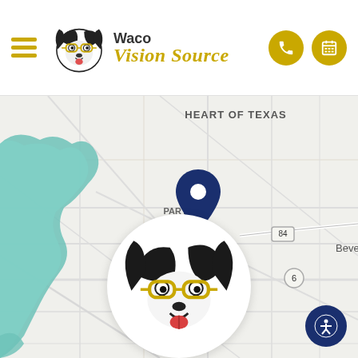Waco Vision Source - navigation header with hamburger menu, logo, phone and appointment icons
[Figure (map): Google-style map centered on Parkdale / Viking Hills area of Waco, Texas, showing a dark blue location pin marker. Map labels include HEART OF TEXAS, PARKDALE VIKING HILLS, Woodway, Beverly, route 84, route 6, route 35, and teal-colored water bodies (lake/river).]
[Figure (illustration): Circular popup showing a cartoon black-and-white dog wearing yellow/gold glasses - the Waco Vision Source mascot logo.]